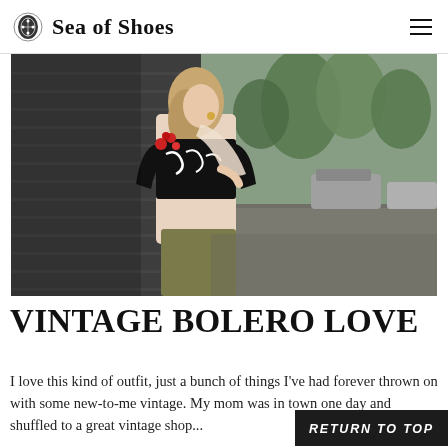Sea of Shoes
[Figure (photo): Fashion photo of a young woman leaning against a dark brick wall on a wet street, wearing a black and white vintage bolero jacket with red floral embroidery over a light pink top and olive pants. Trees and parked cars visible in the background.]
VINTAGE BOLERO LOVE
I love this kind of outfit, just a bunch of things I've had forever thrown on with some new-to-me vintage. My mom was in town one day and shuffled to a great vintage shop...
RETURN TO TOP